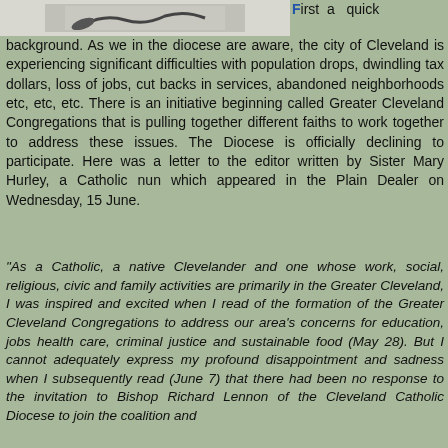[Figure (illustration): Partial image at top left showing a dark pen or similar object on a light background]
First a quick background. As we in the diocese are aware, the city of Cleveland is experiencing significant difficulties with population drops, dwindling tax dollars, loss of jobs, cut backs in services, abandoned neighborhoods etc, etc, etc. There is an initiative beginning called Greater Cleveland Congregations that is pulling together different faiths to work together to address these issues. The Diocese is officially declining to participate. Here was a letter to the editor written by Sister Mary Hurley, a Catholic nun which appeared in the Plain Dealer on Wednesday, 15 June.
“As a Catholic, a native Clevelander and one whose work, social, religious, civic and family activities are primarily in the Greater Cleveland, I was inspired and excited when I read of the formation of the Greater Cleveland Congregations to address our area’s concerns for education, jobs health care, criminal justice and sustainable food (May 28). But I cannot adequately express my profound disappointment and sadness when I subsequently read (June 7) that there had been no response to the invitation to Bishop Richard Lennon of the Cleveland Catholic Diocese to join the coalition and